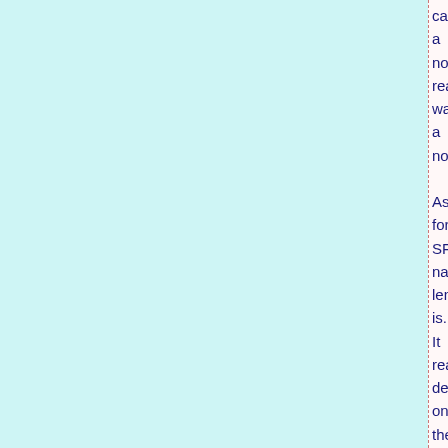call a nov rea wa a nov As for SF nat len is... It rea dep on the sub it's dea with